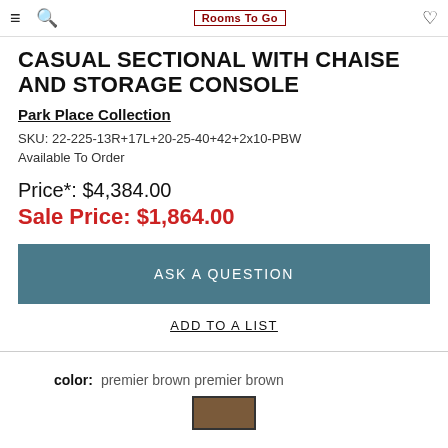≡ 🔍 [logo: Rooms To Go] ♡
CASUAL SECTIONAL WITH CHAISE AND STORAGE CONSOLE
Park Place Collection
SKU: 22-225-13R+17L+20-25-40+42+2x10-PBW
Available To Order
Price*: $4,384.00
Sale Price: $1,864.00
ASK A QUESTION
ADD TO A LIST
color:  premier brown premier brown